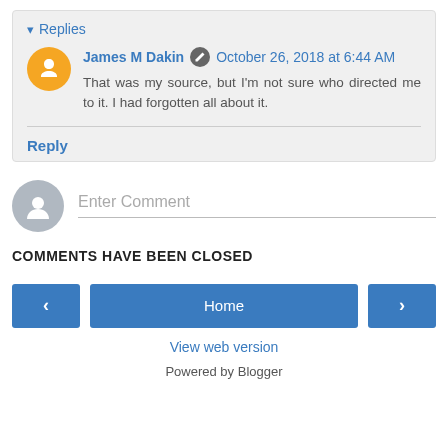Replies
James M Dakin  October 26, 2018 at 6:44 AM
That was my source, but I'm not sure who directed me to it. I had forgotten all about it.
Reply
Enter Comment
COMMENTS HAVE BEEN CLOSED
Home
View web version
Powered by Blogger